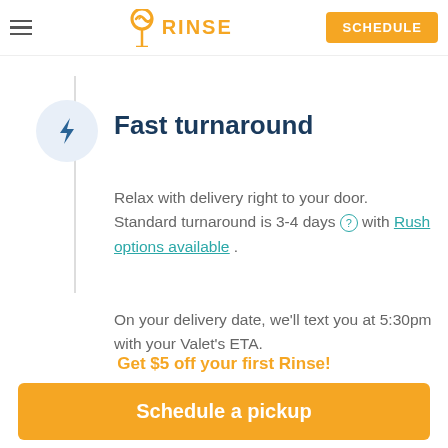RINSE — Schedule
by masters of clothing care with decades of experience.
Fast turnaround
Relax with delivery right to your door. Standard turnaround is 3-4 days ⓘ with Rush options available .
On your delivery date, we'll text you at 5:30pm with your Valet's ETA.
Get $5 off your first Rinse!
Schedule a pickup